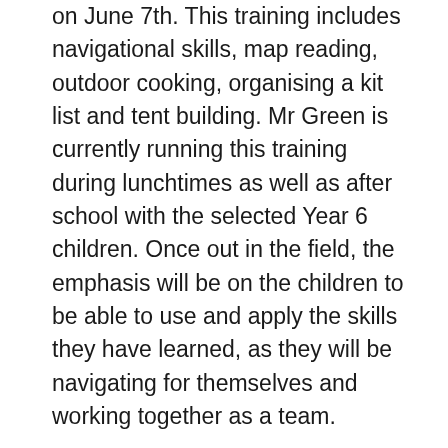on June 7th.  This training includes navigational skills, map reading, outdoor cooking, organising a kit list and tent building.  Mr Green is currently running this training during lunchtimes as well as after school with the selected Year 6 children.   Once out in the field, the emphasis will be on the children to be able to use and apply the skills they have learned, as they will be navigating for themselves and working together as a team.
An exciting development for the future is that another member of the Stowford Staff, Mr Roberts of Year 1, will also be fully qualified as a Ten Tors Leader in addition to Mr Green and this will offer more children the opportunity to take part.
During a recent training session with the Year 6